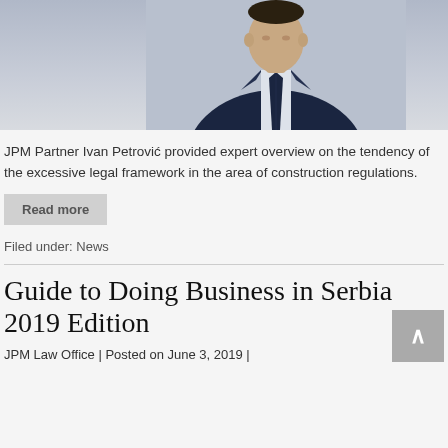[Figure (photo): Professional headshot of a man in a dark navy suit with a dark tie, photographed against a light grey background. Only the upper body/torso and head area visible, cropped at top.]
JPM Partner Ivan Petrović provided expert overview on the tendency of the excessive legal framework in the area of construction regulations.
Read more
Filed under: News
Guide to Doing Business in Serbia 2019 Edition
JPM Law Office | Posted on June 3, 2019 |